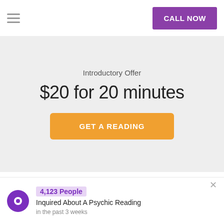CALL NOW
Introductory Offer
$20 for 20 minutes
GET A READING
CAREER & FINANCE
DESTINY & LIFE PATH
4,123 People Inquired About A Psychic Reading in the past 3 weeks